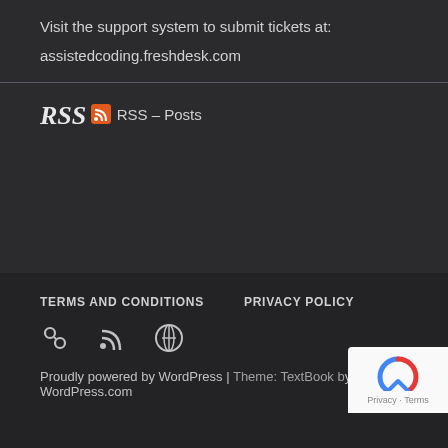Visit the support system to submit tickets at:
assistedcoding.freshdesk.com
RSS
RSS - Posts
TERMS AND CONDITIONS   PRIVACY POLICY
Proudly powered by WordPress | Theme: TextBook by WordPress.com